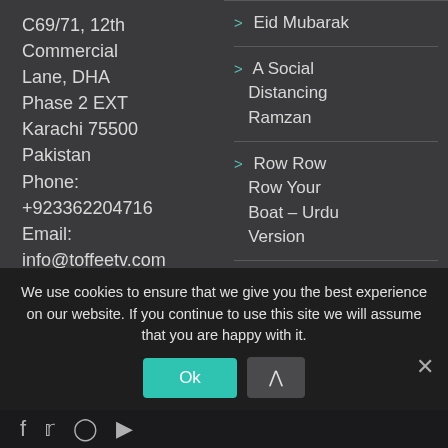C69/71, 12th Commercial Lane, DHA Phase 2 EXT Karachi 75500 Pakistan Phone: +923362204716 Email: info@toffeetv.com web:
Eid Mubarak
A Social Distancing Ramzan
Row Row Row Your Boat – Urdu Version
Our Second
We use cookies to ensure that we give you the best experience on our website. If you continue to use this site we will assume that you are happy with it.